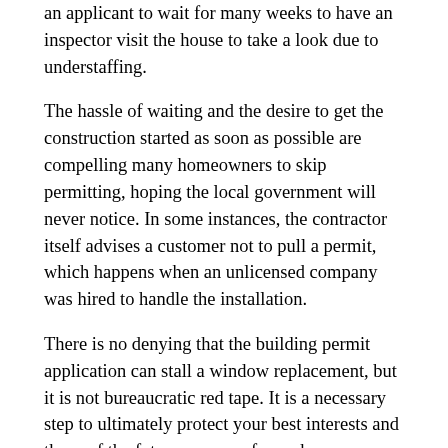an applicant to wait for many weeks to have an inspector visit the house to take a look due to understaffing.
The hassle of waiting and the desire to get the construction started as soon as possible are compelling many homeowners to skip permitting, hoping the local government will never notice. In some instances, the contractor itself advises a customer not to pull a permit, which happens when an unlicensed company was hired to handle the installation.
There is no denying that the building permit application can stall a window replacement, but it is not bureaucratic red tape. It is a necessary step to ultimately protect your best interests and those of the future owners of your house.
Code-compliant windows will make your house safer, especially your bedrooms, for egress units make convenient escape routes for the occupants and entrances for the rescue team in case of emergency. Building requirements exist to keep a property structurally sound and energy-efficient, too.
To skip permitting is to roll the dice. You can initially save time